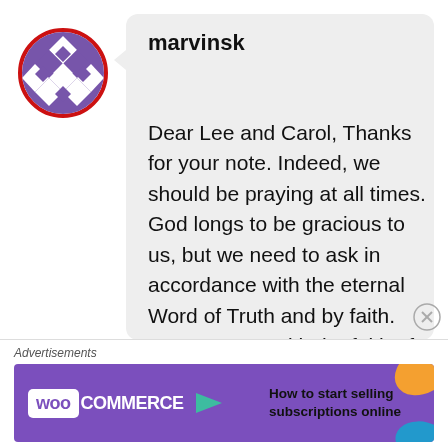[Figure (illustration): Circular avatar with red border containing a geometric purple/white quilt-like pattern]
marvinsk
Dear Lee and Carol, Thanks for your note. Indeed, we should be praying at all times. God longs to be gracious to us, but we need to ask in accordance with the eternal Word of Truth and by faith. May we pray with the faith of
[Figure (logo): WooCommerce advertisement banner with purple background, WooCommerce logo with arrow, and text 'How to start selling subscriptions online']
Advertisements